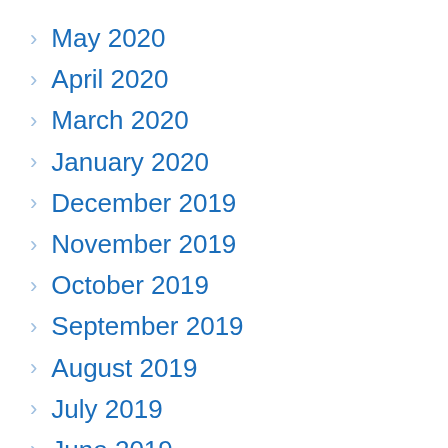May 2020
April 2020
March 2020
January 2020
December 2019
November 2019
October 2019
September 2019
August 2019
July 2019
June 2019
May 2019